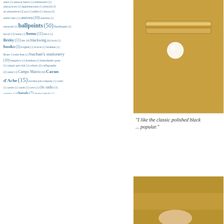aister (1) amazon basics (1) Ambassador (1) analog notes (1) Appleman pens (1) Arnold (3) art alternatives (2) asa (1) ashlin (1) Aston (2) atelier lusso (1) aurora (10) australia (1) autopoint (1) ballpoints (50) Banditapple (1) baoer (3) beena (1) benu (11) berol (1) Bexley (11) bic (4) blackwing (6) bock (1) books (3) borghini (1) boston (1) brahman (1) Bruno Corsini Pens (1) buchan's stationery (10) bungubox (1) burnham (1) butterknife pens (1) calgary pen club (1) caliarts (2) calligraphy (2) camel (1) Campo Marzio (6) Caran d'Ache (15) carolina pen company (1) carter (1) cartier (1) caseti (1) caws (1) cbc radio (3) cervinia (1) charals (7) charles lethaby (1) chilton (1) chris thompson (1) christian dior (1) Clairefontaine (2) ClassicPens (1) colorverse (1) Congress (1) CONID (6) Conklin (20) Conway Stewart (12) creeks n creeks (1) creeks n' creeks (1) crocodile (1) cross (27) d.f.foley pen company (1) daiso (3) danitrio (4) david oscarson (1) de atramentis (1) dee charles (1) delike (4) delta (65) demonstrators (2) desk sets (53) diamine (9) diamond medal (1) diamond point (3) dikawen (1) dip pens (4) Diplomat (7) dixon (1) dollar (2) domtar (1) dryden designs (1) duke (1) Dupont (3) e faber (1) eagle (2) eclipse (14) Pelikan (?) Edison Pens (?) elysian (?) Nib (?)...
[Figure (photo): Close-up photo of a gold-colored pen nib or clip mechanism on a wooden surface with a white pearl-like ball visible]
"I like the classic polished black ... popular."
[Figure (photo): Close-up photo of what appears to be a pen being held, partially visible at bottom right of page]